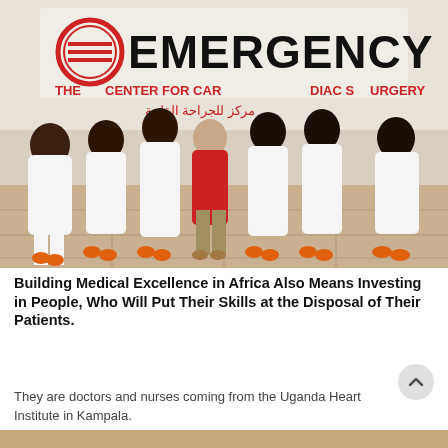[Figure (photo): Group photo of medical staff in white uniforms with orange clogs standing in front of an EMERGENCY signage wall. One person in the center wears a red shirt. The sign reads EMERGENCY and references cardiac surgery in both English and Arabic.]
Building Medical Excellence in Africa Also Means Investing in People, Who Will Put Their Skills at the Disposal of Their Patients.
They are doctors and nurses coming from the Uganda Heart Institute in Kampala.